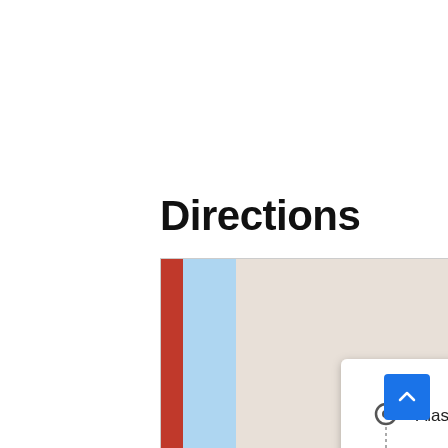Directions
[Figure (screenshot): Google Maps screenshot showing directions from Alaska Flight 261 Memorial to 567 W Channel Islands Blvd #210. A popup/card shows two location fields and a 'More options' link. The map shows a route traced in blue through Oxnard/Port Hueneme area with street labels including W Wooley Rd, Ventura Rd, Mullin, Walmart, US Navy Seab (Seabee Base), S J St, Bard Rd, W Bard. Text visible on map: Channel, rd #210, nnel, s Beach. A red destination pin and a gray/black origin circle are visible near the route start.]